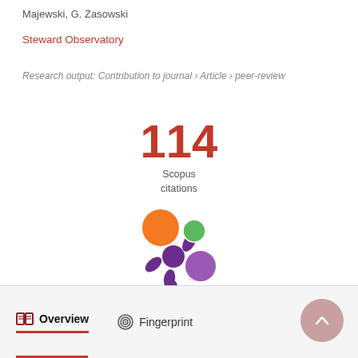Majewski, G. Zasowski
Steward Observatory
Research output: Contribution to journal › Article › peer-review
[Figure (infographic): 114 Scopus citations badge with numeric display]
[Figure (logo): Altmetric flower/snowflake logo with orange, green, and purple colored circles]
Overview
Fingerprint